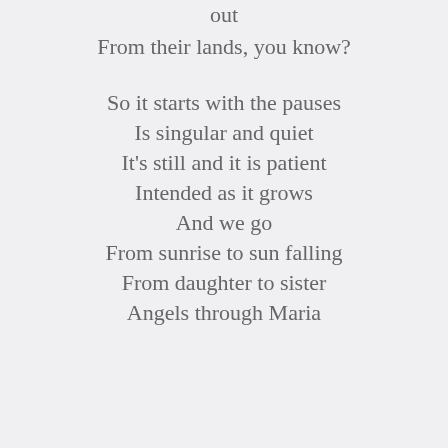out
From their lands, you know?
So it starts with the pauses
Is singular and quiet
It's still and it is patient
Intended as it grows
And we go
From sunrise to sun falling
From daughter to sister
Angels through Maria